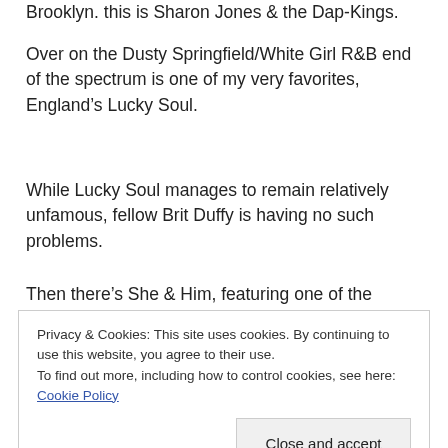Brooklyn. this is Sharon Jones & the Dap-Kings.
Over on the Dusty Springfield/White Girl R&B end of the spectrum is one of my very favorites, England’s Lucky Soul.
While Lucky Soul manages to remain relatively unfamous, fellow Brit Duffy is having no such problems.
Then there’s She & Him, featuring one of the sexiest ingenue types in the world, Zooey Deschanel. Whoo –
Privacy & Cookies: This site uses cookies. By continuing to use this website, you agree to their use.
To find out more, including how to control cookies, see here: Cookie Policy
Close and accept